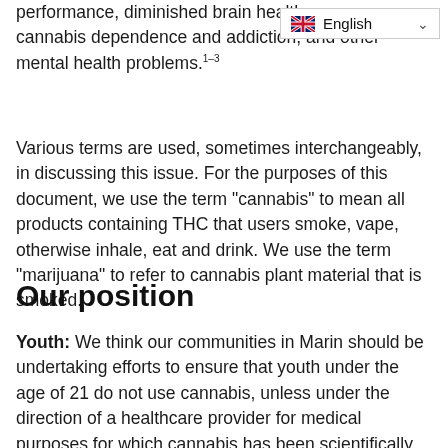performance, diminished brain health, cannabis dependence and addiction, and other mental health problems.1–3
[Figure (other): Language selector widget showing UK flag and 'English' with a dropdown chevron]
Various terms are used, sometimes interchangeably, in discussing this issue. For the purposes of this document, we use the term "cannabis" to mean all products containing THC that users smoke, vape, otherwise inhale, eat and drink. We use the term "marijuana" to refer to cannabis plant material that is smoked.
Our position
Youth: We think our communities in Marin should be undertaking efforts to ensure that youth under the age of 21 do not use cannabis, unless under the direction of a healthcare provider for medical purposes for which cannabis has been scientifically demonstrated